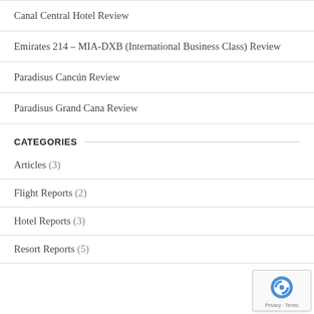Canal Central Hotel Review
Emirates 214 – MIA-DXB (International Business Class) Review
Paradisus Cancún Review
Paradisus Grand Cana Review
CATEGORIES
Articles (3)
Flight Reports (2)
Hotel Reports (3)
Resort Reports (5)